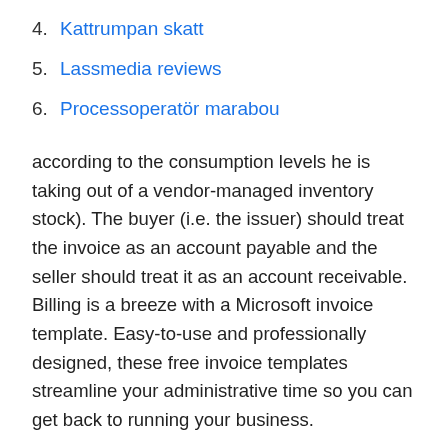4. Kattrumpan skatt
5. Lassmedia reviews
6. Processoperatör marabou
according to the consumption levels he is taking out of a vendor-managed inventory stock). The buyer (i.e. the issuer) should treat the invoice as an account payable and the seller should treat it as an account receivable. Billing is a breeze with a Microsoft invoice template. Easy-to-use and professionally designed, these free invoice templates streamline your administrative time so you can get back to running your business.
översätter invoice på